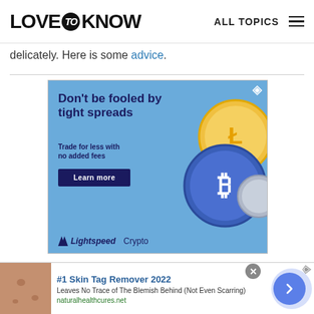LOVE to KNOW   ALL TOPICS
delicately. Here is some advice.
[Figure (illustration): Lightspeed Crypto advertisement banner. Blue background with cryptocurrency coins (Bitcoin, Litecoin). Text: Don't be fooled by tight spreads. Trade for less with no added fees. Learn more button. Lightspeed Crypto branding.]
[Figure (illustration): Skin tag remover advertisement. Image of skin on left. Text: #1 Skin Tag Remover 2022. Leaves No Trace of The Blemish Behind (Not Even Scarring). naturalhealthcures.net. Blue arrow button on right.]